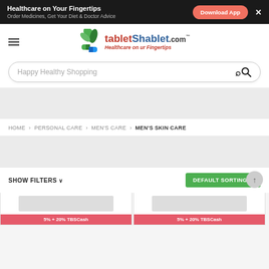Healthcare on Your Fingertips
Order Medicines, Get Your Diet & Doctor Advice
Download App
[Figure (logo): TabletShablet.com logo with green leaf/pill icon and tagline 'Healthcare on ur Fingertips']
Happy Healthy Shopping
HOME > PERSONAL CARE > MEN'S CARE > MEN'S SKIN CARE
SHOW FILTERS ∨    DEFAULT SORTING ∨
5% + 20% TBSCash
5% + 20% TBSCash